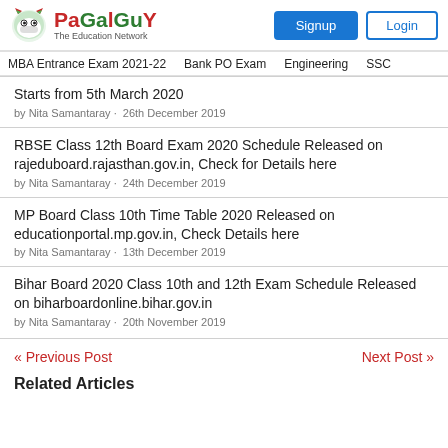PaGaLGuY - The Education Network | Signup | Login
MBA Entrance Exam 2021-22 | Bank PO Exam | Engineering | SSC
Starts from 5th March 2020 — by Nita Samantaray · 26th December 2019
RBSE Class 12th Board Exam 2020 Schedule Released on rajeduboard.rajasthan.gov.in, Check for Details here — by Nita Samantaray · 24th December 2019
MP Board Class 10th Time Table 2020 Released on educationportal.mp.gov.in, Check Details here — by Nita Samantaray · 13th December 2019
Bihar Board 2020 Class 10th and 12th Exam Schedule Released on biharboardonline.bihar.gov.in — by Nita Samantaray · 20th November 2019
« Previous Post
Next Post »
Related Articles